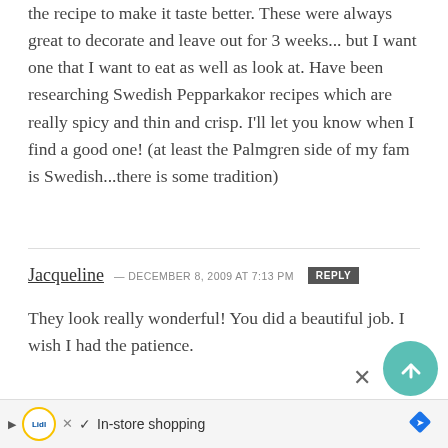the recipe to make it taste better. These were always great to decorate and leave out for 3 weeks... but I want one that I want to eat as well as look at. Have been researching Swedish Pepparkakor recipes which are really spicy and thin and crisp. I'll let you know when I find a good one! (at least the Palmgren side of my fam is Swedish...there is some tradition)
Jacqueline — DECEMBER 8, 2009 at 7:13 PM  REPLY
They look really wonderful! You did a beautiful job. I wish I had the patience.
[Figure (screenshot): Advertisement banner showing Lidl logo with play icon, checkmark, 'In-store shopping' text, and a blue navigation diamond icon on the right.]